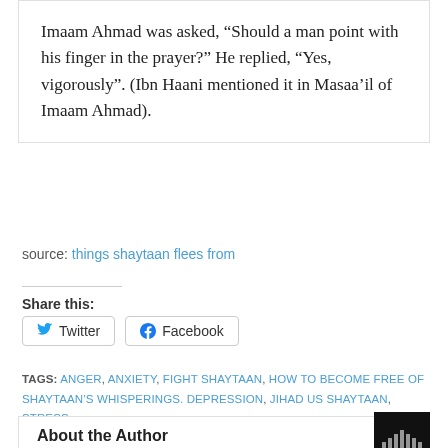Imaam Ahmad was asked, “Should a man point with his finger in the prayer?” He replied, “Yes, vigorously”. (Ibn Haani mentioned it in Masaa’il of Imaam Ahmad).
source: things shaytaan flees from
Share this:
Twitter  Facebook
TAGS: ANGER, ANXIETY, FIGHT SHAYTAAN, HOW TO BECOME FREE OF SHAYTAAN’S WHISPERINGS. DEPRESSION, JIHAD US SHAYTAAN, STRESS, SUICIDE, THINGS SHAYTAAN FLEES FROM, WASWASA, WHISPERS OF SHAYTAAN
About the Author